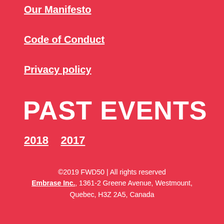Our Manifesto
Code of Conduct
Privacy policy
PAST EVENTS
2018  2017
©2019 FWD50 | All rights reserved
Embrase Inc., 1361-2 Greene Avenue, Westmount, Quebec, H3Z 2A5, Canada